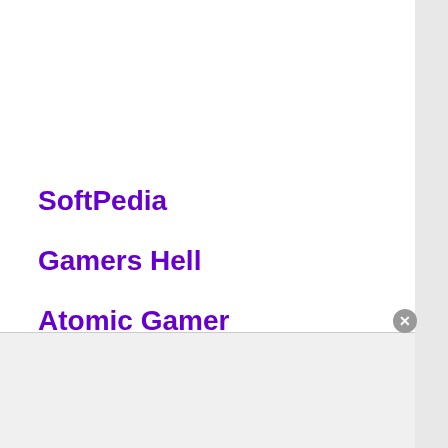SoftPedia
Gamers Hell
Atomic Gamer
One or two of the sites listed above have Anti-Virus programs that test these files